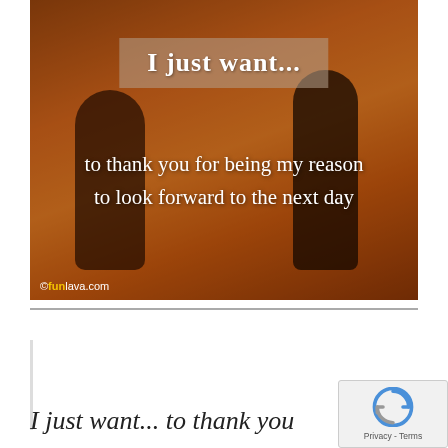[Figure (photo): Warm-toned photo of two silhouetted people (a couple) running or walking together against a golden-orange sunset background. Text overlay reads 'I just want... to thank you for being my reason to look forward to the next day'. Watermark: funlava.com]
I just want... to thank you
[Figure (other): Google reCAPTCHA badge with 'Privacy - Terms' text]